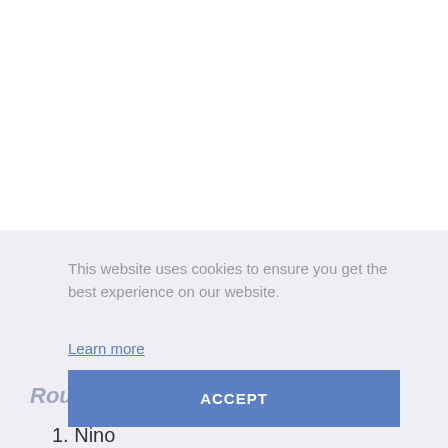This website uses cookies to ensure you get the best experience on our website.
Learn more
ACCEPT
Round 1 – Answers
1.  Nino